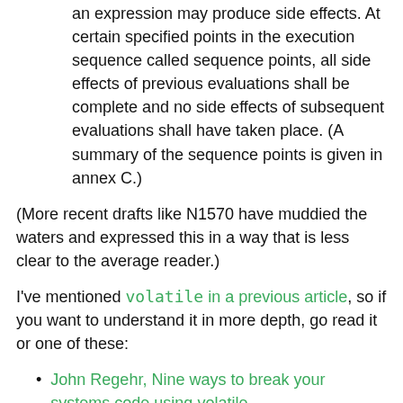an expression may produce side effects. At certain specified points in the execution sequence called sequence points, all side effects of previous evaluations shall be complete and no side effects of subsequent evaluations shall have taken place. (A summary of the sequence points is given in annex C.)
(More recent drafts like N1570 have muddied the waters and expressed this in a way that is less clear to the average reader.)
I've mentioned volatile in a previous article, so if you want to understand it in more depth, go read it or one of these:
John Regehr, Nine ways to break your systems code using volatile
Barr Group, How to Use C's volatile Keyword
GCC documentation, When is a Volatile Object Accessed?